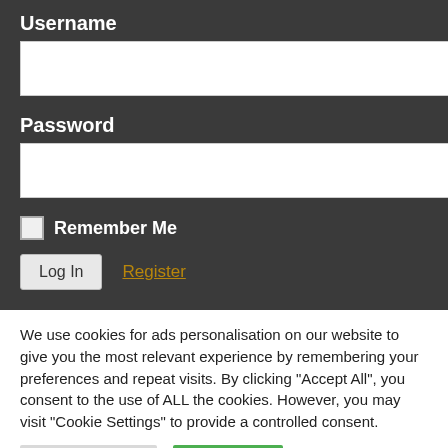Username
[Figure (screenshot): Username text input field (empty white rectangle)]
Password
[Figure (screenshot): Password text input field (empty white rectangle)]
Remember Me
Log In
Register
We use cookies for ads personalisation on our website to give you the most relevant experience by remembering your preferences and repeat visits. By clicking “Accept All”, you consent to the use of ALL the cookies. However, you may visit "Cookie Settings" to provide a controlled consent.
Cookie Settings
Accept All